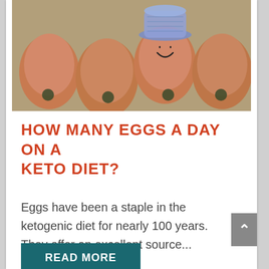[Figure (photo): A photo of brown eggs in an egg carton, with one egg wearing a small blue knitted hat and having a smiley face drawn on it.]
HOW MANY EGGS A DAY ON A KETO DIET?
Eggs have been a staple in the ketogenic diet for nearly 100 years. They offer an excellent source...